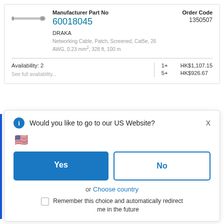[Figure (photo): Small grey cable illustration]
Manufacturer Part No
Order Code
60018045
1350507
DRAKA
Networking Cable, Patch, Screened, Cat5e, 26 AWG, 0.23 mm², 328 ft, 100 m
Availability: 2
1+   HK$1,107.15
5+   HK$926.67
See full availability...
Would you like to go to our US Website?
X
Yes
No
or Choose country
Remember this choice and automatically redirect me in the future
CAT5ETELL305
...